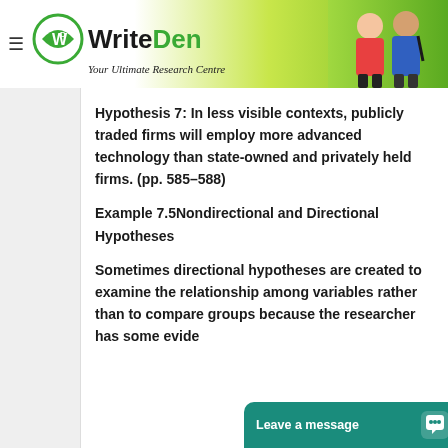[Figure (logo): WriteDen logo with green gradient banner and students image. Text: WriteDen - Your Ultimate Research Centre]
Hypothesis 7: In less visible contexts, publicly traded firms will employ more advanced technology than state-owned and privately held firms. (pp. 585–588)
Example 7.5Nondirectional and Directional Hypotheses
Sometimes directional hypotheses are created to examine the relationship among variables rather than to compare groups because the researcher has some evide... potential o...